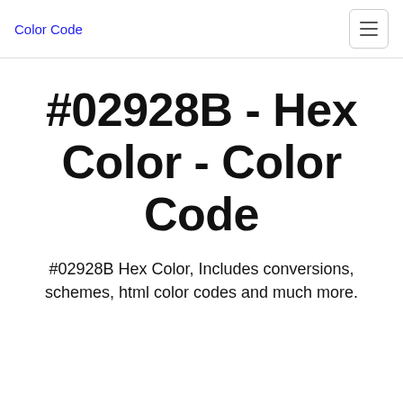Color Code
#02928B - Hex Color - Color Code
#02928B Hex Color, Includes conversions, schemes, html color codes and much more.